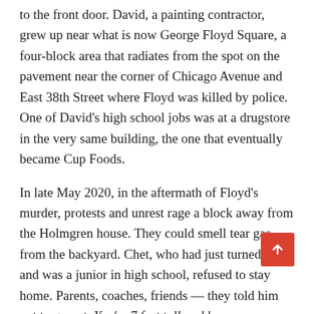to the front door. David, a painting contractor, grew up near what is now George Floyd Square, a four-block area that radiates from the spot on the pavement near the corner of Chicago Avenue and East 38th Street where Floyd was killed by police. One of David's high school jobs was at a drugstore in the very same building, the one that eventually became Cup Foods.
In late May 2020, in the aftermath of Floyd's murder, protests and unrest rage a block away from the Holmgren house. They could smell tear gas from the backyard. Chet, who had just turned 18 and was a junior in high school, refused to stay home. Parents, coaches, friends — they told him not to go out. You're 7 feet tall and known throughout the city, they told him. You're going to be a target. But David says his son's "frustration and anger" overrode the pleas.
"I hoop with everyone in the city," Chet says. "All my